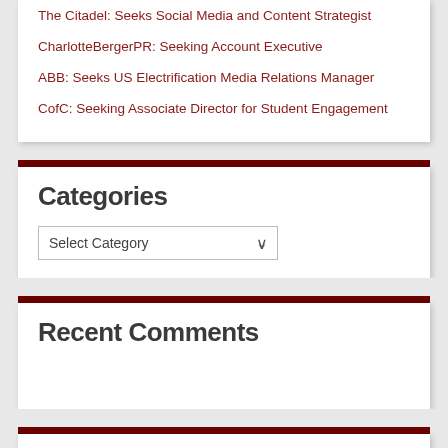The Citadel: Seeks Social Media and Content Strategist
CharlotteBergerPR: Seeking Account Executive
ABB: Seeks US Electrification Media Relations Manager
CofC: Seeking Associate Director for Student Engagement
Categories
Select Category
Recent Comments
Archives